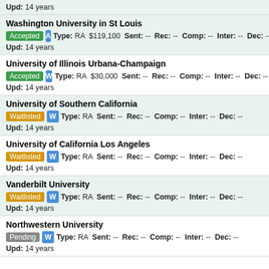Upd: 14 years
Washington University in St Louis
Accepted A Type: RA $119,100 Sent: -- Rec: -- Comp: -- Inter: -- Dec: --
Upd: 14 years
University of Illinois Urbana-Champaign
Accepted W Type: RA $30,000 Sent: -- Rec: -- Comp: -- Inter: -- Dec: --
Upd: 14 years
University of Southern California
Waitlisted W Type: RA Sent: -- Rec: -- Comp: -- Inter: -- Dec: --
Upd: 14 years
University of California Los Angeles
Waitlisted W Type: RA Sent: -- Rec: -- Comp: -- Inter: -- Dec: --
Upd: 14 years
Vanderbilt University
Waitlisted W Type: RA Sent: -- Rec: -- Comp: -- Inter: -- Dec: --
Upd: 14 years
Northwestern University
Pending W Type: RA Sent: -- Rec: -- Comp: -- Inter: -- Dec: --
Upd: 14 years